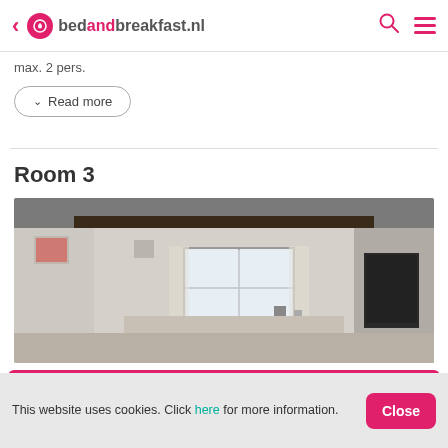bedandbreakfast.nl
max. 2 pers.
Read more
Room 3
[Figure (photo): Interior photo of a room with white walls, exposed dark ceiling beam, a window with curtains, and furniture visible.]
SELECT DATES FOR PRICES
This website uses cookies. Click here for more information.